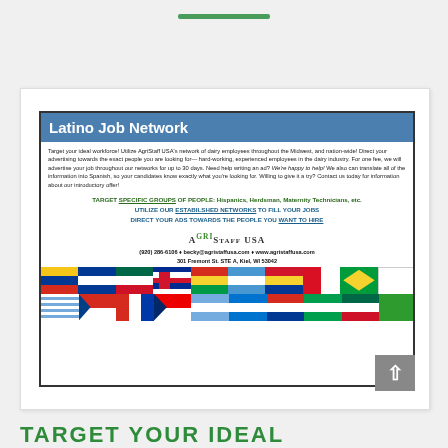[Figure (infographic): Latino Job Network advertisement for AgriStaff USA showing blue header, body text, bullet points, logo, contact info, and rows of Latin American country flags at the bottom]
TARGET YOUR IDEAL